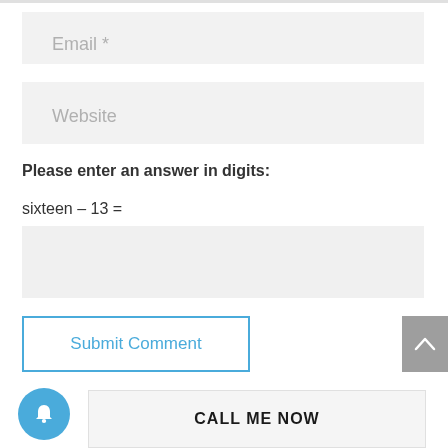Email *
Website
Please enter an answer in digits:
Submit Comment
CALL ME NOW